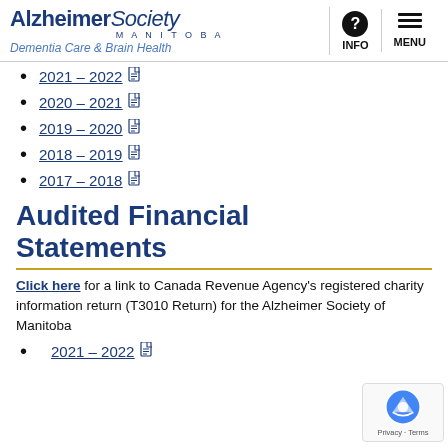[Figure (logo): Alzheimer Society Manitoba logo with tagline Dementia Care & Brain Health, plus INFO and MENU icons]
2021 – 2022 [PDF]
2020 – 2021 [PDF]
2019 – 2020 [PDF]
2018 – 2019 [PDF]
2017 – 2018 [PDF]
Audited Financial Statements
Click here for a link to Canada Revenue Agency's registered charity information return (T3010 Return) for the Alzheimer Society of Manitoba.
2021 – 2022 [PDF]